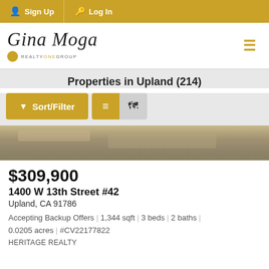Sign Up | Log In
[Figure (logo): Gina Moga Realty One Group logo]
Properties in Upland (214)
Sort/Filter | List view | Map view buttons
[Figure (photo): Partial photo of property exterior/driveway]
$309,900
1400 W 13th Street #42
Upland, CA 91786
Accepting Backup Offers | 1,344 sqft | 3 beds | 2 baths | 0.0205 acres | #CV22177822
HERITAGE REALTY